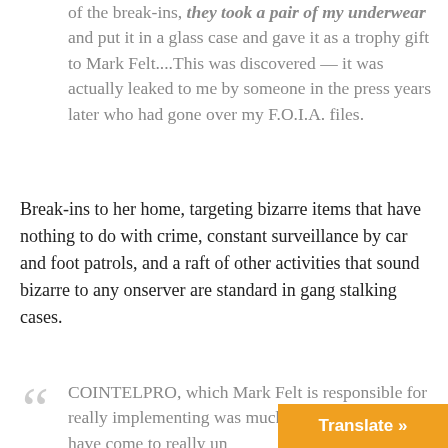of the break-ins, they took a pair of my underwear and put it in a glass case and gave it as a trophy gift to Mark Felt....This was discovered — it was actually leaked to me by someone in the press years later who had gone over my F.O.I.A. files.
Break-ins to her home, targeting bizarre items that have nothing to do with crime, constant surveillance by car and foot patrols, and a raft of other activities that sound bizarre to any onserver are standard in gang stalking cases.
COINTELPRO, which Mark Felt is responsible for really implementing was much wider than we ever have come to really un...